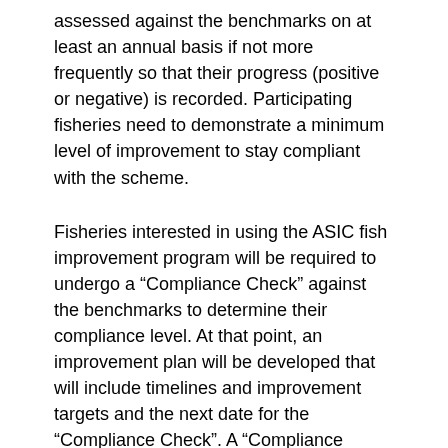assessed against the benchmarks on at least an annual basis if not more frequently so that their progress (positive or negative) is recorded. Participating fisheries need to demonstrate a minimum level of improvement to stay compliant with the scheme.
Fisheries interested in using the ASIC fish improvement program will be required to undergo a “Compliance Check” against the benchmarks to determine their compliance level. At that point, an improvement plan will be developed that will include timelines and improvement targets and the next date for the “Compliance Check”. A “Compliance Check” could be conducted by certification bodies or by independent consultants or organizations who are forming partnerships with the fishery under assessment.
Market Claim
It is the intention of the Steering Committee that fisheries participating and deemed compliant with this scheme can claim